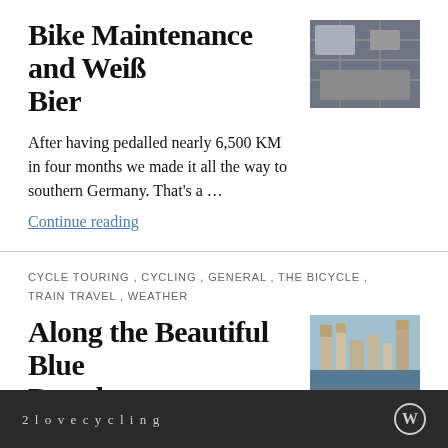Bike Maintenance and Weiß Bier
After having pedalled nearly 6,500 KM in four months we made it all the way to southern Germany. That's a …
Continue reading
CYCLE TOURING , CYCLING , GENERAL , THE BICYCLE , TRAIN TRAVEL , WEATHER
Along the Beautiful Blue Danube
In Hof, near the end of the Saale River Cycle Route, the weather threatened to deteriorate and the forecast was …
Continue reading
2lovecycling